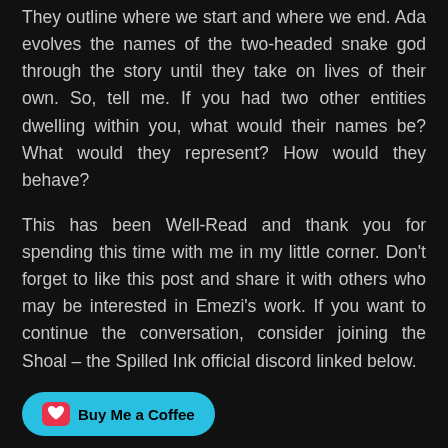They outline where we start and where we end. Ada evolves the names of the two-headed snake god through the story until they take on lives of their own. So, tell me. If you had two other entities dwelling within you, what would their names be? What would they represent? How would they behave?
This has been Well-Read and thank you for spending this time with me in my little corner. Don't forget to like this post and share it with others who may be interested in Emezi's work. If you want to continue the conversation, consider joining the Shoal – the Spilled Ink official discord linked below.
[Figure (other): Buy Me a Coffee button — a cyan/teal rounded button with a red heart/coffee cup icon and bold black text reading 'Buy Me a Coffee']